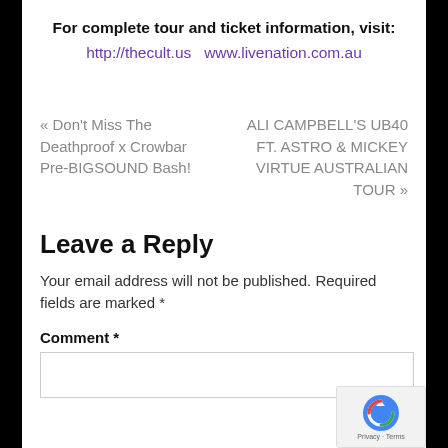For complete tour and ticket information, visit:
http://thecult.us   www.livenation.com.au
« Don't Miss The Deathproof x Crowbar Pre-BIGSOUND Bash!
ALI CAMPBELL'S UB40 FT. ASTRO & MICKEY VIRTUE AUSTRALIAN TOUR »
Leave a Reply
Your email address will not be published. Required fields are marked *
Comment *